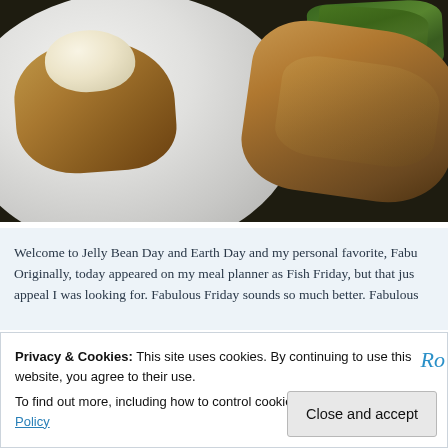[Figure (photo): A white plate with a slice of bread topped with butter/cream, a piece of grilled or baked fish, and green beans visible in the upper right corner. Dark background.]
Welcome to Jelly Bean Day and Earth Day and my personal favorite, Fabu... Originally, today appeared on my meal planner as Fish Friday, but that jus... appeal I was looking for. Fabulous Friday sounds so much better. Fabulous...
Privacy & Cookies: This site uses cookies. By continuing to use this website, you agree to their use.
To find out more, including how to control cookies, see here: Cookie Policy
Close and accept